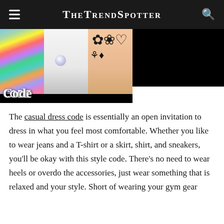TheTrendSpotter
[Figure (photo): Close-up image of decorated fingernails on an orange/yellow background, showing colorful abstract design on one nail, white nail with gem, and black floral design on another nail. Right side of image area is black.]
The casual dress code is essentially an open invitation to dress in what you feel most comfortable. Whether you like to wear jeans and a T-shirt or a skirt, shirt, and sneakers, you'll be okay with this style code. There's no need to wear heels or overdo the accessories, just wear something that is relaxed and your style. Short of wearing your gym gear